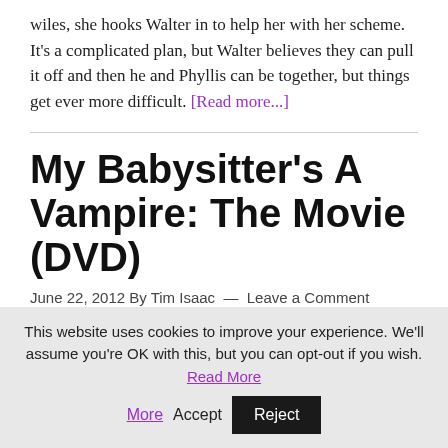wiles, she hooks Walter in to help her with her scheme. It's a complicated plan, but Walter believes they can pull it off and then he and Phyllis can be together, but things get ever more difficult. [Read more...]
My Babysitter's A Vampire: The Movie (DVD)
June 22, 2012 By Tim Isaac — Leave a Comment
[Figure (photo): Partial image showing top of page with dark hair shapes visible at bottom, cropped]
This website uses cookies to improve your experience. We'll assume you're OK with this, but you can opt-out if you wish. Read More Accept Reject